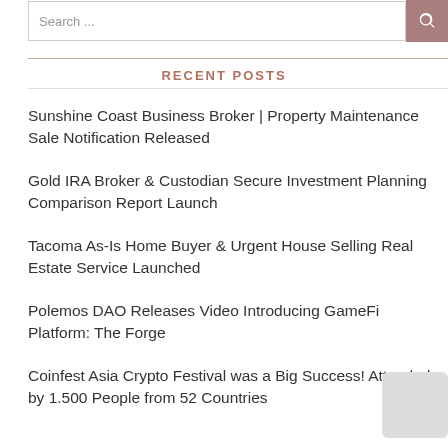Search ...
RECENT POSTS
Sunshine Coast Business Broker | Property Maintenance Sale Notification Released
Gold IRA Broker & Custodian Secure Investment Planning Comparison Report Launch
Tacoma As-Is Home Buyer & Urgent House Selling Real Estate Service Launched
Polemos DAO Releases Video Introducing GameFi Platform: The Forge
Coinfest Asia Crypto Festival was a Big Success! Attended by 1.500 People from 52 Countries